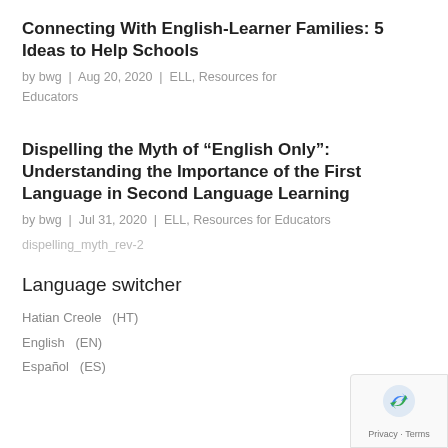Connecting With English-Learner Families: 5 Ideas to Help Schools
by bwg | Aug 20, 2020 | ELL, Resources for Educators
Dispelling the Myth of “English Only”: Understanding the Importance of the First Language in Second Language Learning
by bwg | Jul 31, 2020 | ELL, Resources for Educators
dispelling_myth_rev-2
Language switcher
Hatian Creole  (HT)
English  (EN)
Español  (ES)